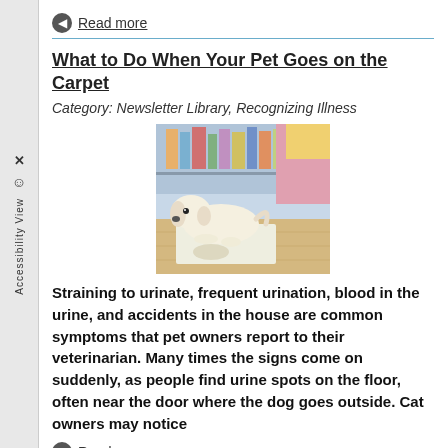Read more
What to Do When Your Pet Goes on the Carpet
Category: Newsletter Library, Recognizing Illness
[Figure (photo): A white Labrador puppy lying on a light-colored rug or carpet on a hardwood floor, with a child partially visible in the background.]
Straining to urinate, frequent urination, blood in the urine, and accidents in the house are common symptoms that pet owners report to their veterinarian. Many times the signs come on suddenly, as people find urine spots on the floor, often near the door where the dog goes outside. Cat owners may notice
Read more